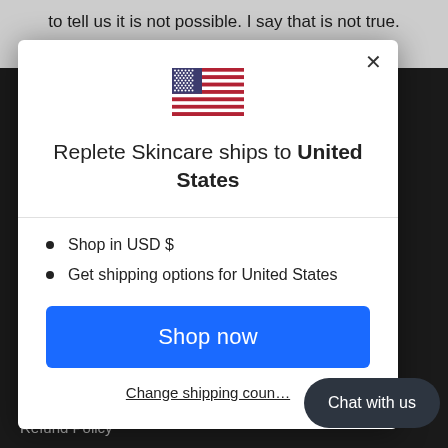to tell us it is not possible. I say that is not true. The time we have is a gift for us to use it.
[Figure (illustration): US flag icon in the modal header]
Replete Skincare ships to United States
Shop in USD $
Get shipping options for United States
Shop now
Change shipping coun...
Chat with us
Shipping
Refund Policy